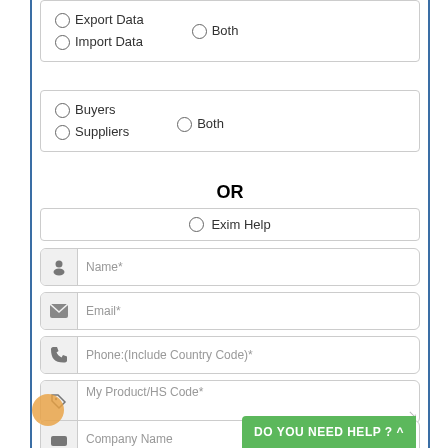Export Data | Import Data | Both
Buyers | Suppliers | Both
OR
Exim Help
Name*
Email*
Phone:(Include Country Code)*
My Product/HS Code*
Company Name
DO YOU NEED HELP ? ^